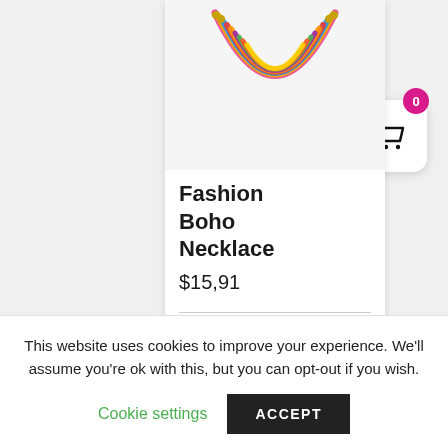[Figure (photo): Colorful multi-strand fashion boho necklace with bright multicolor beads/fabric strands arranged in a horseshoe/bib shape on a light gray background]
Fashion Boho Necklace
$15,91
Add   Details
This website uses cookies to improve your experience. We'll assume you're ok with this, but you can opt-out if you wish.
Cookie settings
ACCEPT